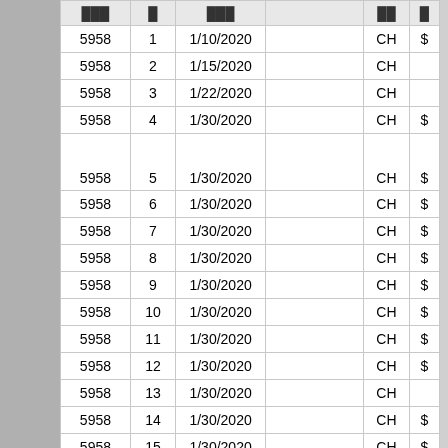| ... | ... | ... |  | ... | ... |
| --- | --- | --- | --- | --- | --- |
| 5958 | 1 | 1/10/2020 |  | CH | $ |
| 5958 | 2 | 1/15/2020 |  | CH |  |
| 5958 | 3 | 1/22/2020 |  | CH |  |
| 5958 | 4 | 1/30/2020 |  | CH | $ |
| 5958 | 5 | 1/30/2020 |  | CH | $ |
| 5958 | 6 | 1/30/2020 |  | CH | $ |
| 5958 | 7 | 1/30/2020 |  | CH | $ |
| 5958 | 8 | 1/30/2020 |  | CH | $ |
| 5958 | 9 | 1/30/2020 |  | CH | $ |
| 5958 | 10 | 1/30/2020 |  | CH | $ |
| 5958 | 11 | 1/30/2020 |  | CH | $ |
| 5958 | 12 | 1/30/2020 |  | CH | $ |
| 5958 | 13 | 1/30/2020 |  | CH |  |
| 5958 | 14 | 1/30/2020 |  | CH | $ |
| 5958 | 15 | 1/30/2020 |  | CH | $ |
| 5958 | 16 | 1/30/2020 |  | CH | $ |